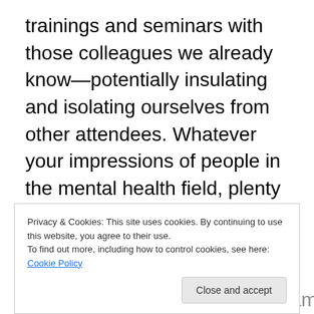trainings and seminars with those colleagues we already know—potentially insulating and isolating ourselves from other attendees. Whatever your impressions of people in the mental health field, plenty of us are actually introverts who find crowds and forced socialization to be extremely draining. For some, the same skills that make us effective in a one-on-one or group session, or even a phone-based intervention—such as being able to focus not only on a person's words, but the whole of what people are communicating non-verbally—can make it very difficult to just mingle in a large crowd.
Privacy & Cookies: This site uses cookies. By continuing to use this website, you agree to their use. To find out more, including how to control cookies, see here: Cookie Policy
There is also the potential for rambling when you're on the